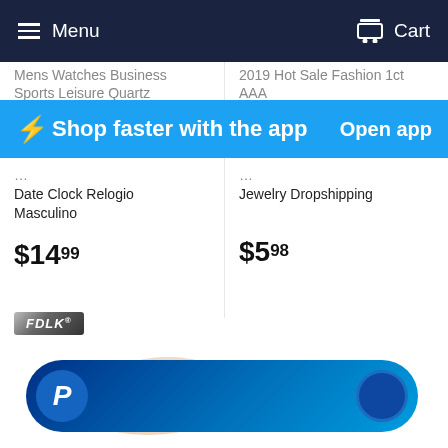Menu   Cart
Mens Watches Business Sports Leisure Quartz Date Clock Relogio Masculino
2019 Hot Sale Fashion 1ct AAA Cubic Zirconia Hollow Out Jewelry Dropshipping
⚡ Shop faster with the app   Open app
$14.99
$5.98
[Figure (logo): FDLK brand badge in grey/dark metallic gradient]
[Figure (photo): Rose gold diamond crystal ring jewelry product photo]
[Figure (other): PayPal payment button bar with P logo on dark blue gradient rounded rectangle]